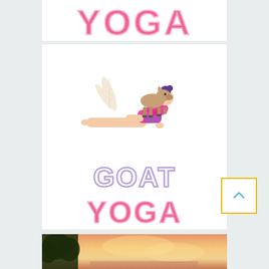[Figure (illustration): Partial view of 'YOGA' text in pink/hot-pink decorative lettering, cropped at top of page]
[Figure (illustration): Goat yoga illustration: woman in plank yoga pose with a small brown goat standing on her back, decorative palm leaf in background. Below the figure: 'GOAT' in purple outline letters and 'YOGA' in pink decorative lettering. A yellow-bordered back-to-top button with teal chevron appears at bottom-right of this card.]
[Figure (photo): Outdoor sunset or sunrise photo showing warm golden/orange sky, with tree silhouettes visible at left edge, partially cropped at bottom of page]